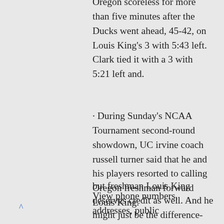Oregon scoreless for more than five minutes after the Ducks went ahead, 45-42, on Louis King’s 3 with 5:43 left. Clark tied it with a 3 with 5:21 left and.
· During Sunday’s NCAA Tournament second-round showdown, UC irvine coach russell turner said that he and his players resorted to calling Oregon freshman forward Louis King.
but freshman Louis King deserves credit as well. And he might just be the difference-maker for Oregon. King is averaging 13.4 points per game this season, and he has upped that to 16.5 points per game.
View phone numbers, addresses, public
^